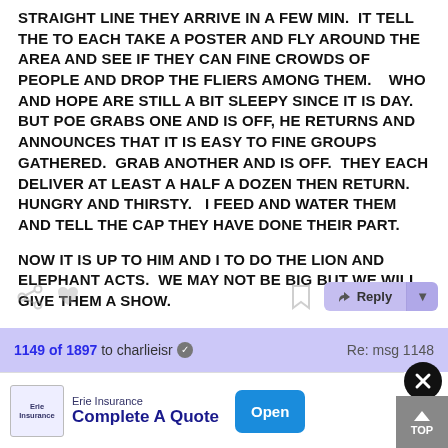STRAIGHT LINE THEY ARRIVE IN A FEW MIN.  IT TELL THE TO EACH TAKE A POSTER AND FLY AROUND THE AREA AND SEE IF THEY CAN FINE CROWDS OF PEOPLE AND DROP THE FLIERS AMONG THEM.    WHO AND HOPE ARE STILL A BIT SLEEPY SINCE IT IS DAY.  BUT POE GRABS ONE AND IS OFF, HE RETURNS AND ANNOUNCES THAT IT IS EASY TO FINE GROUPS GATHERED.  GRAB ANOTHER AND IS OFF.  THEY EACH DELIVER AT LEAST A HALF A DOZEN THEN RETURN.  HUNGRY AND THIRSTY.   I FEED AND WATER THEM AND TELL THE CAP THEY HAVE DONE THEIR PART.
NOW IT IS UP TO HIM AND I TO DO THE LION AND ELEPHANT ACTS.  WE MAY NOT BE BIG BUT WE WILL GIVE THEM A SHOW.
1149 of 1897 to charlieisr ✓  Re: msg 1148
Erie Insurance  Complete A Quote  Open